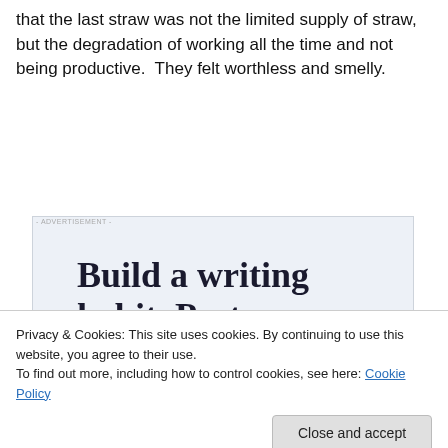that the last straw was not the limited supply of straw, but the degradation of working all the time and not being productive.  They felt worthless and smelly.
[Figure (other): Advertisement for WordPress app: 'Build a writing habit. Post on the go.' with GET THE APP call to action and WordPress circular logo]
Privacy & Cookies: This site uses cookies. By continuing to use this website, you agree to their use.
To find out more, including how to control cookies, see here: Cookie Policy
[Close and accept button]